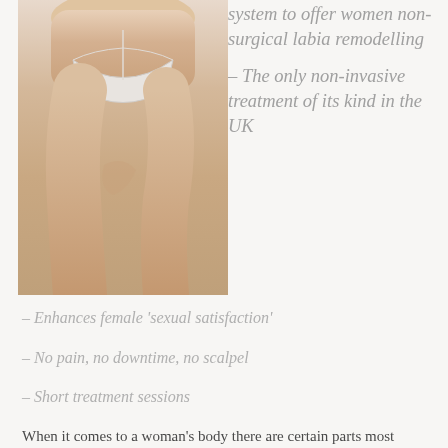[Figure (photo): Woman's lower torso wearing white underwear, standing with legs slightly crossed]
system to offer women non-surgical labia remodelling
– The only non-invasive treatment of its kind in the UK
– Enhances female 'sexual satisfaction'
– No pain, no downtime, no scalpel
– Short treatment sessions
When it comes to a woman's body there are certain parts most don't like to talk about-